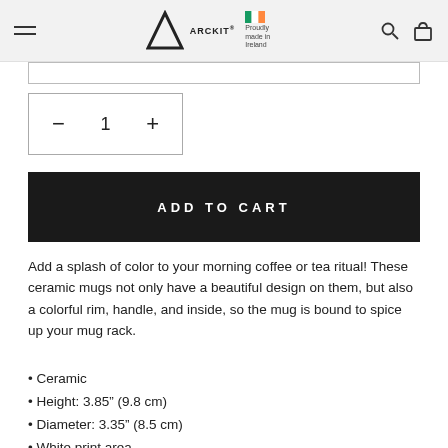ARCKIT – Proudly made in Ireland
Add a splash of color to your morning coffee or tea ritual! These ceramic mugs not only have a beautiful design on them, but also a colorful rim, handle, and inside, so the mug is bound to spice up your mug rack.
Ceramic
Height: 3.85" (9.8 cm)
Diameter: 3.35" (8.5 cm)
White print area